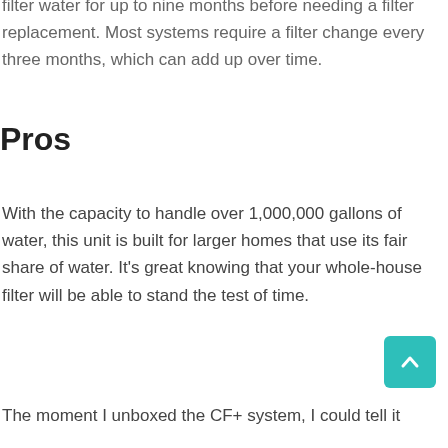One of the best features of this unit is its ability to filter water for up to nine months before needing a filter replacement. Most systems require a filter change every three months, which can add up over time.
Pros
With the capacity to handle over 1,000,000 gallons of water, this unit is built for larger homes that use its fair share of water. It's great knowing that your whole-house filter will be able to stand the test of time.
The moment I unboxed the CF+ system, I could tell it